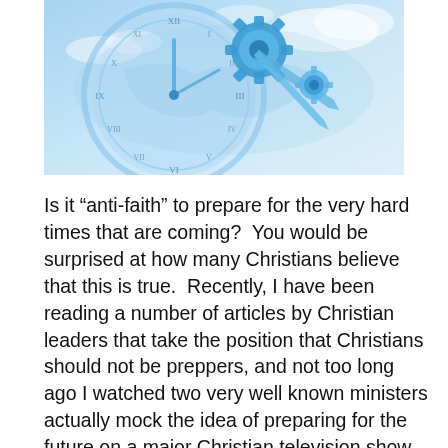[Figure (illustration): A blue-toned stylized clock face with Roman numerals, overlaid with gear/cog mechanisms and clock hands, with a sky and world map background. The image is decorative and thematic for a religious/preparedness article.]
Is it “anti-faith” to prepare for the very hard times that are coming?  You would be surprised at how many Christians believe that this is true.  Recently, I have been reading a number of articles by Christian leaders that take the position that Christians should not be preppers, and not too long ago I watched two very well known ministers actually mock the idea of preparing for the future on a major Christian television show.  To me, this is exceedingly